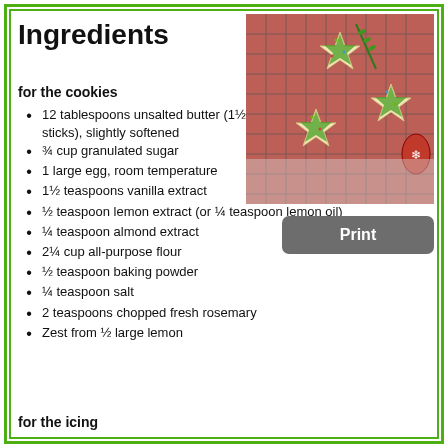Ingredients
[Figure (photo): Star-shaped Christmas sugar cookies with green icing and sprinkles on a cooling rack with red decorations and rosemary]
for the cookies
12 tablespoons unsalted butter (1½ sticks), slightly softened
¾ cup granulated sugar
1 large egg, room temperature
1½ teaspoons vanilla extract
½ teaspoon lemon extract (or ¼ teaspoon lemon oil)
¼ teaspoon almond extract
2¼ cup all-purpose flour
½ teaspoon baking powder
¼ teaspoon salt
2 teaspoons chopped fresh rosemary
Zest from ½ large lemon
for the icing